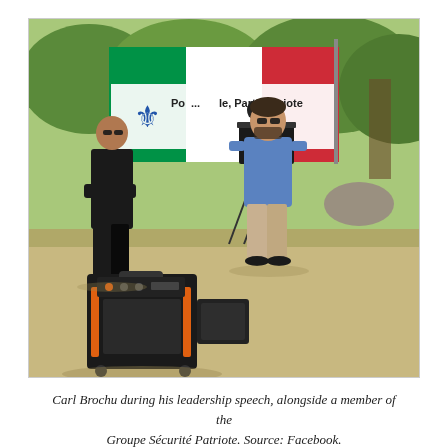[Figure (photo): Outdoor photograph of Carl Brochu giving a leadership speech at a podium in a park. A banner in the background reads 'Po... le, Parti Patriote' with a fleur-de-lis logo. A man in black security attire stands to the left. A portable PA speaker is in the foreground. Trees and green shrubs are visible in the background. A green, white, and red striped flag hangs behind the banner.]
Carl Brochu during his leadership speech, alongside a member of the Groupe Sécurité Patriote. Source: Facebook.